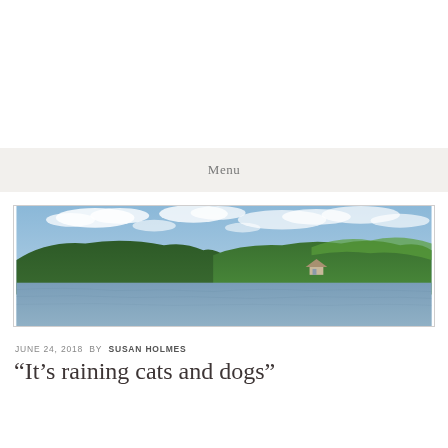Menu
[Figure (photo): Panoramic landscape photo of a lake surrounded by forested hills with a cloudy blue sky. A house or cabin is visible among the trees on the far shore.]
JUNE 24, 2018  BY  SUSAN HOLMES
“It’s raining cats and dogs”